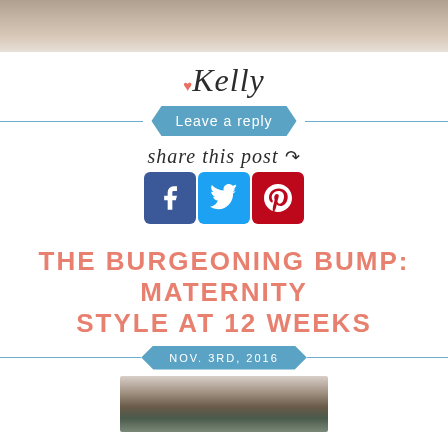[Figure (photo): Top portion of a photo, appears to be a person or scene, cropped at top of page]
[Figure (illustration): Signature 'Kelly' in cursive script with a small heart icon above]
Leave a reply
share this post
[Figure (illustration): Social media share buttons: Facebook (blue), Twitter (light blue), Pinterest (red)]
THE BURGEONING BUMP: MATERNITY STYLE AT 12 WEEKS
NOV. 3RD, 2016
[Figure (photo): Bottom photo showing a doorway or entrance, partially visible]